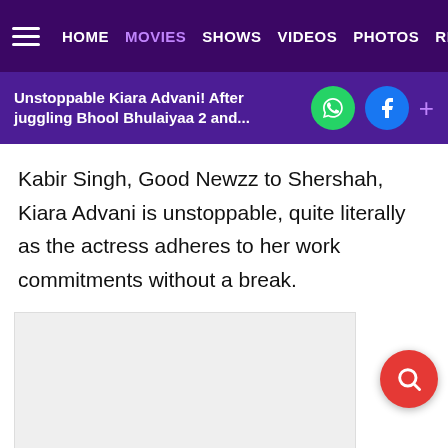HOME  MOVIES  SHOWS  VIDEOS  PHOTOS  REVI
Unstoppable Kiara Advani! After juggling Bhool Bhulaiyaa 2 and...
Kabir Singh, Good Newzz to Shershah, Kiara Advani is unstoppable, quite literally as the actress adheres to her work commitments without a break.
[Figure (other): Advertisement placeholder - light grey rectangle]